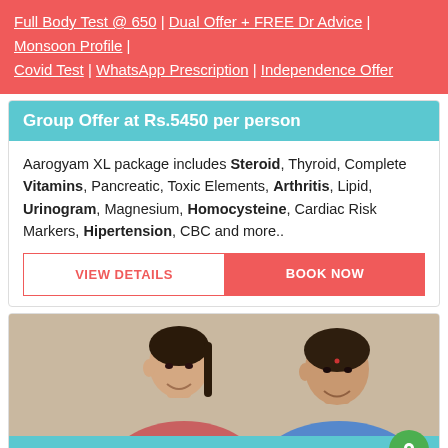Full Body Test @ 650 | Dual Offer + FREE Dr Advice | Monsoon Profile | Covid Test | WhatsApp Prescription | Independence Offer
Group Offer at Rs.5450 per person
Aarogyam XL package includes Steroid, Thyroid, Complete Vitamins, Pancreatic, Toxic Elements, Arthritis, Lipid, Urinogram, Magnesium, Homocysteine, Cardiac Risk Markers, Hipertension, CBC and more..
VIEW DETAILS | BOOK NOW
[Figure (photo): Two women smiling and looking at something together, one younger with dark hair down and one older wearing a blue sari]
Book Appointment